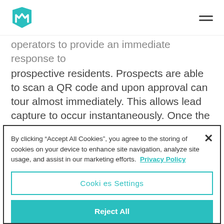[Logo] [Hamburger menu]
operators to provide an immediate response to prospective residents. Prospects are able to scan a QR code and upon approval can tour almost immediately. This allows lead capture to occur instantaneously. Once the tour is completed, the data is synced into the community's property management system.
By clicking “Accept All Cookies”, you agree to the storing of cookies on your device to enhance site navigation, analyze site usage, and assist in our marketing efforts. Privacy Policy
Cookies Settings
Reject All